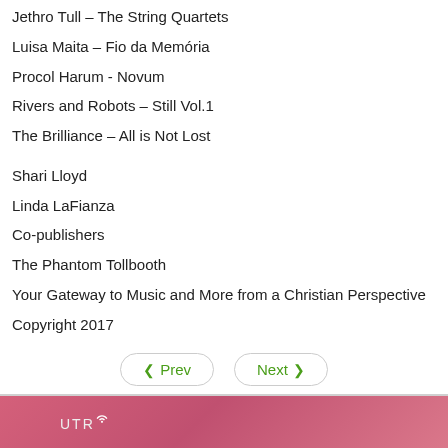Jethro Tull – The String Quartets
Luisa Maita – Fio da Memória
Procol Harum - Novum
Rivers and Robots – Still Vol.1
The Brilliance – All is Not Lost
Shari Lloyd
Linda LaFianza
Co-publishers
The Phantom Tollbooth
Your Gateway to Music and More from a Christian Perspective
Copyright 2017
[Figure (screenshot): Navigation buttons: Prev and Next with green text and rounded border style]
[Figure (illustration): UTR Best Songs banner with pink/red gradient background, 'UTR best songs' text with dark blue 'best' and pink outlined 'songs', plus a 'Go to top' overlay button]